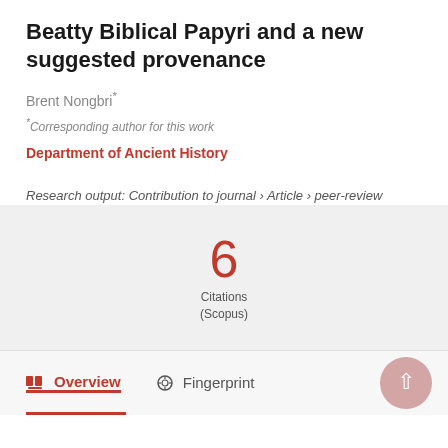Beatty Biblical Papyri and a new suggested provenance
Brent Nongbri*
*Corresponding author for this work
Department of Ancient History
Research output: Contribution to journal › Article › peer-review
6 Citations (Scopus)
Overview   Fingerprint